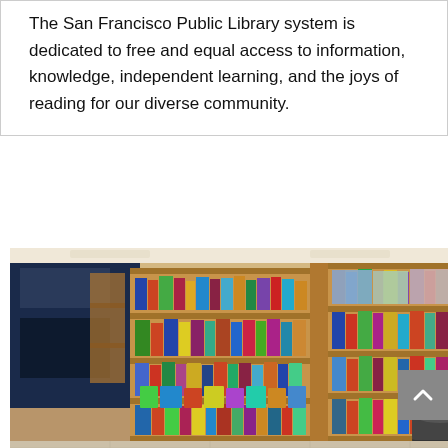The San Francisco Public Library system is dedicated to free and equal access to information, knowledge, independent learning, and the joys of reading for our diverse community.
[Figure (photo): Interior of a library or bookstore showing wooden bookshelves arranged in an L-shape, filled with colorful books and materials. The shelves are light wood colored and contain books displayed face-out and spine-out. A dark cylindrical object sits on the floor in the center foreground. The space has tile flooring and overhead lighting.]